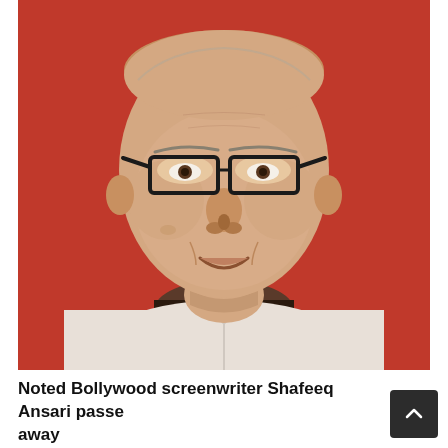[Figure (photo): Close-up portrait photo of an elderly man wearing rectangular glasses and a white kurta, smiling, against a red background.]
Noted Bollywood screenwriter Shafeeq Ansari passed away